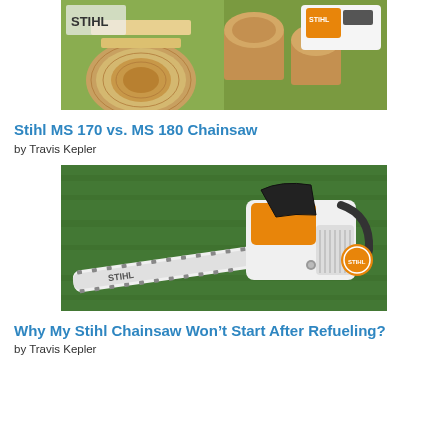[Figure (photo): Stihl chainsaws with cut wood logs on grass, showing two chainsaw models side by side]
Stihl MS 170 vs. MS 180 Chainsaw
by Travis Kepler
[Figure (photo): Stihl chainsaw lying on green grass, showing the bar and chain with orange and black body]
Why My Stihl Chainsaw Won't Start After Refueling?
by Travis Kepler